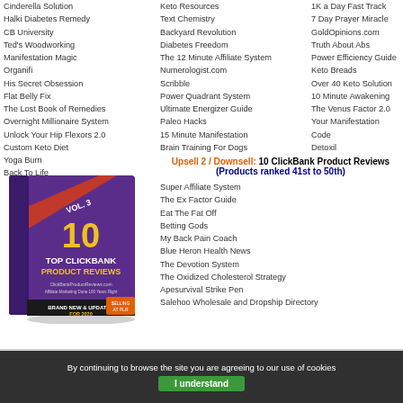Cinderella Solution
Halki Diabetes Remedy
CB University
Ted's Woodworking
Manifestation Magic
Organifi
His Secret Obsession
Flat Belly Fix
The Lost Book of Remedies
Overnight Millionaire System
Unlock Your Hip Flexors 2.0
Custom Keto Diet
Yoga Burn
Back To Life
Keto Resources
Text Chemistry
Backyard Revolution
Diabetes Freedom
The 12 Minute Affiliate System
Numerologist.com
Scribble
Power Quadrant System
Ultimate Energizer Guide
Paleo Hacks
15 Minute Manifestation
Brain Training For Dogs
1K a Day Fast Track
7 Day Prayer Miracle
GoldOpinions.com
Truth About Abs
Power Efficiency Guide
Keto Breads
Over 40 Keto Solution
10 Minute Awakening
The Venus Factor 2.0
Your Manifestation Code
Detoxil
[Figure (illustration): Book cover: Vol. 3, 10 Top ClickBank Product Reviews, purple/red/black design with yellow text, Brand New & Updated for 2020]
Upsell 2 / Downsell: 10 ClickBank Product Reviews (Products ranked 41st to 50th)
Super Affiliate System
The Ex Factor Guide
Eat The Fat Off
Betting Gods
My Back Pain Coach
Blue Heron Health News
The Devotion System
The Oxidized Cholesterol Strategy
Apesurvival Strike Pen
Salehoo Wholesale and Dropship Directory
[Figure (photo): Circular avatar photo of a person with glasses]
By continuing to browse the site you are agreeing to our use of cookies
I understand